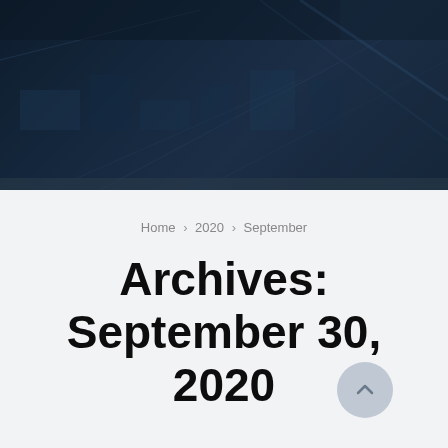[Figure (photo): Dark blue aerial/city photograph used as hero image background]
Home › 2020 › September
Archives: September 30, 2020